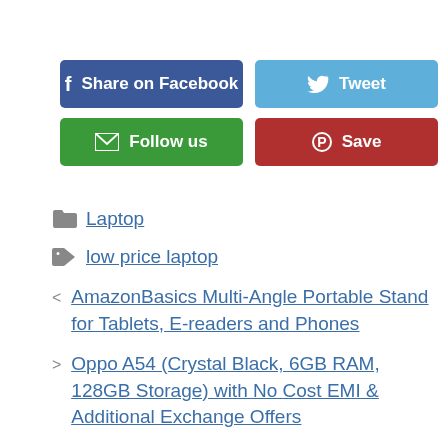[Figure (other): Social share buttons: Share on Facebook (blue), Tweet (light blue), Follow us (green), Save (dark red/Pinterest)]
Laptop
low price laptop
AmazonBasics Multi-Angle Portable Stand for Tablets, E-readers and Phones
Oppo A54 (Crystal Black, 6GB RAM, 128GB Storage) with No Cost EMI & Additional Exchange Offers